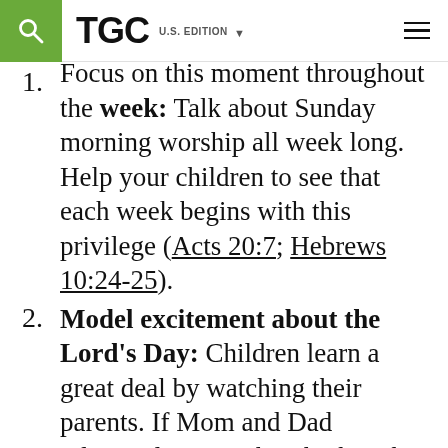TGC U.S. EDITION
1. Focus on this moment throughout the week: Talk about Sunday morning worship all week long. Help your children to see that each week begins with this privilege (Acts 20:7; Hebrews 10:24-25).
2. Model excitement about the Lord's Day: Children learn a great deal by watching their parents. If Mom and Dad reluctantly go to church, then the children will reluctantly go to church. If Mom and Dad are critical of the preacher, sermon, etc. then the children will most likely be critical. Wake up early